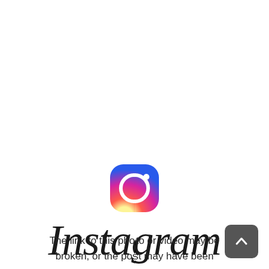[Figure (logo): Instagram camera icon logo with gradient fill from yellow/orange at bottom-left to pink/magenta to purple at top-right, rounded square shape with circle and dot inside]
Instagram
The link to this photo or video may be broken, or the post may have been